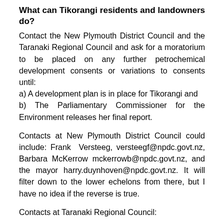What can Tikorangi residents and landowners do?
Contact the New Plymouth District Council and the Taranaki Regional Council and ask for a moratorium to be placed on any further petrochemical development consents or variations to consents until:
a) A development plan is in place for Tikorangi and
b) The Parliamentary Commissioner for the Environment releases her final report.
Contacts at New Plymouth District Council could include: Frank Versteeg, versteegf@npdc.govt.nz, Barbara McKerrow mckerrowb@npdc.govt.nz, and the mayor harry.duynhoven@npdc.govt.nz. It will filter down to the lower echelons from there, but I have no idea if the reverse is true.
Contacts at Taranaki Regional Council: